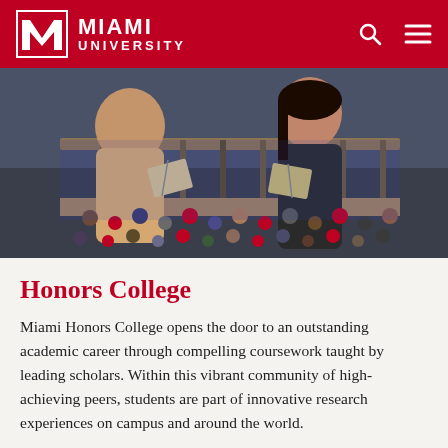Miami University
[Figure (photo): Two students sitting on a balcony or mezzanine area holding open books, talking and smiling, with a crowd of students visible below in a large hall or atrium.]
Honors College
Miami Honors College opens the door to an outstanding academic career through compelling coursework taught by leading scholars. Within this vibrant community of high-achieving peers, students are part of innovative research experiences on campus and around the world.